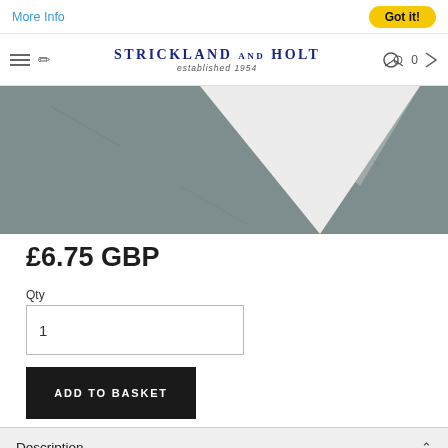More Info | Got it!
STRICKLAND and HOLT established 1954
[Figure (photo): Product image showing a white triangular ceramic coaster against a grey concrete textured background]
£6.75 GBP
Qty
1
ADD TO BASKET
Description
East of India white ceramic coaster